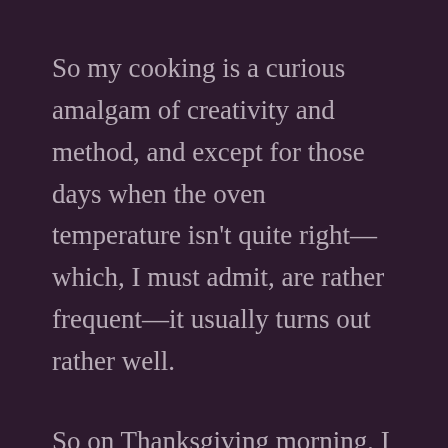So my cooking is a curious amalgam of creativity and method, and except for those days when the oven temperature isn't quite right—which, I must admit, are rather frequent—it usually turns out rather well.
So on Thanksgiving morning, I decided to make pumpkin bread. Bread, as you probably know, requires baking. Which